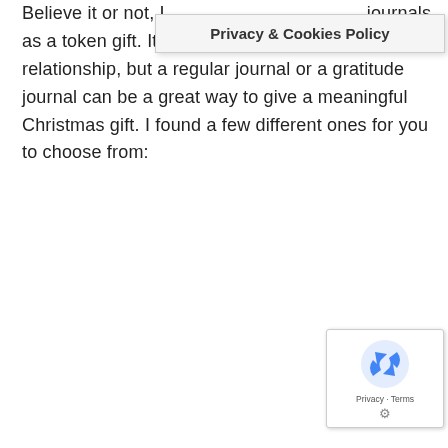Believe it or not, I journals as a token gift. It really depends on the person and the relationship, but a regular journal or a gratitude journal can be a great way to give a meaningful Christmas gift. I found a few different ones for you to choose from:
[Figure (other): Privacy & Cookies Policy overlay banner]
[Figure (other): Google reCAPTCHA badge with recycle arrows logo and Privacy - Terms links]